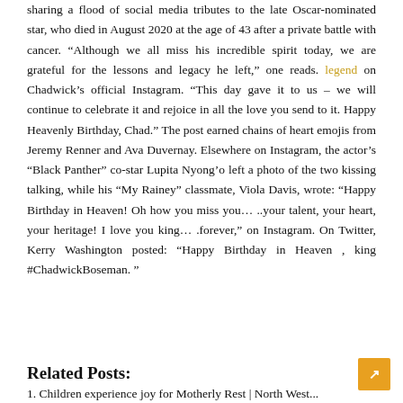Hollywood celebrated Chadwick Boseman's birthday on November 29, sharing a flood of social media tributes to the late Oscar-nominated star, who died in August 2020 at the age of 43 after a private battle with cancer. “Although we all miss his incredible spirit today, we are grateful for the lessons and legacy he left,” one reads. legend on Chadwick’s official Instagram. “This day gave it to us – we will continue to celebrate it and rejoice in all the love you send to it. Happy Heavenly Birthday, Chad.” The post earned chains of heart emojis from Jeremy Renner and Ava Duvernay. Elsewhere on Instagram, the actor’s “Black Panther” co-star Lupita Nyong’o left a photo of the two kissing talking, while his “My Rainey” classmate, Viola Davis, wrote: “Happy Birthday in Heaven! Oh how you miss you… ..your talent, your heart, your heritage! I love you king… .forever,” on Instagram. On Twitter, Kerry Washington posted: “Happy Birthday in Heaven , king #ChadwickBoseman. ”
Related Posts:
1. Children experience joy for Motherly Rest | North West...